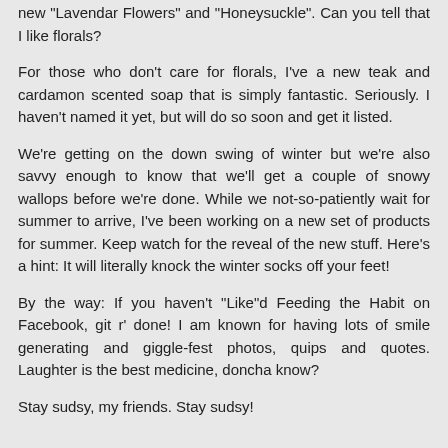new "Lavendar Flowers" and "Honeysuckle".  Can you tell that I like florals?
For those who don't care for florals, I've a new teak and cardamon scented soap that is simply fantastic. Seriously.  I haven't named it yet, but will do so soon and get it listed.
We're getting on the down swing of winter but we're also savvy enough to know that we'll get a couple of snowy wallops before we're done.  While we not-so-patiently wait for summer to arrive, I've been working on a new set of products for summer. Keep watch for the reveal of the new stuff.  Here's a hint:  It will literally knock the winter socks off your feet!
By the way: If you haven't "Like"d Feeding the Habit on Facebook, git r' done!  I am known for having lots of smile generating and giggle-fest photos, quips and quotes.  Laughter is the best medicine, doncha know?
Stay sudsy, my friends. Stay sudsy!